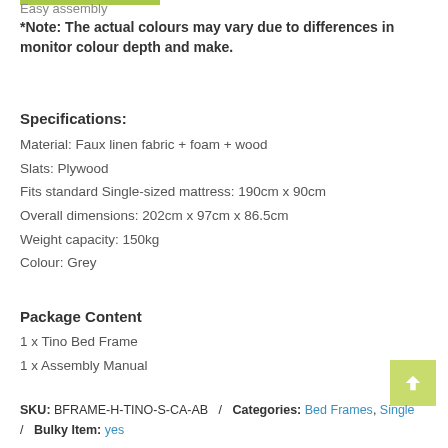Easy assembly
*Note: The actual colours may vary due to differences in monitor colour depth and make.
Specifications:
Material: Faux linen fabric + foam + wood
Slats: Plywood
Fits standard Single-sized mattress: 190cm x 90cm
Overall dimensions: 202cm x 97cm x 86.5cm
Weight capacity: 150kg
Colour: Grey
Package Content
1 x Tino Bed Frame
1 x Assembly Manual
SKU: BFRAME-H-TINO-S-CA-AB  /  Categories: Bed Frames, Single  /  Bulky Item: yes